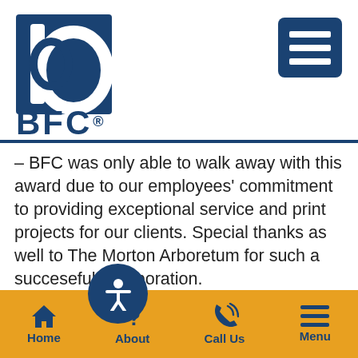[Figure (logo): BFC logo with stylized 'b' letter and circle design in blue square, with 'BFC.' text below]
[Figure (other): Dark blue hamburger menu button with three white horizontal lines]
– BFC was only able to walk away with this award due to our employees' commitment to providing exceptional service and print projects for our clients. Special thanks as well to The Morton Arboretum for such a succeseful collaboration.
Along with this award, BFC was also honored at GLGA to receive an Award of Excelle...
[Figure (other): Blue circular accessibility icon with white person/figure symbol]
Home   About   Call Us   Menu